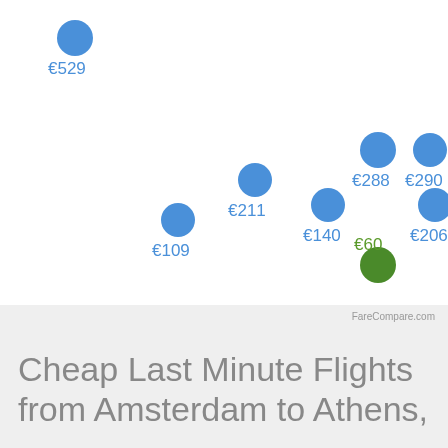[Figure (scatter-plot): Flight prices from Amsterdam to Athens]
FareCompare.com
Cheap Last Minute Flights from Amsterdam to Athens,